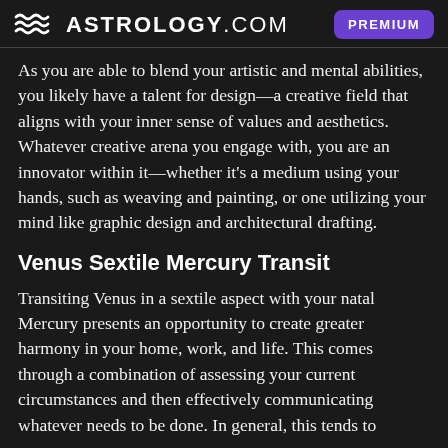ASTROLOGY.COM  PREMIUM
As you are able to blend your artistic and mental abilities, you likely have a talent for design—a creative field that aligns with your inner sense of values and aesthetics. Whatever creative arena you engage with, you are an innovator within it—whether it's a medium using your hands, such as weaving and painting, or one utilizing your mind like graphic design and architectural drafting.
Venus Sextile Mercury Transit
Transiting Venus in a sextile aspect with your natal Mercury presents an opportunity to create greater harmony in your home, work, and life. This comes through a combination of assessing your current circumstances and then effectively communicating whatever needs to be done. In general, this tends to